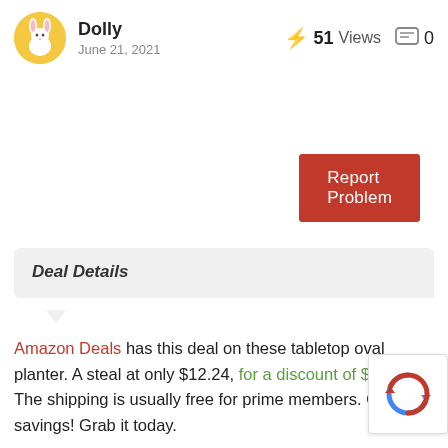Dolly — June 21, 2021 — 51 Views — 0 comments
[Figure (other): Report Problem button, red background with white text]
Deal Details
Amazon Deals has this deal on these tabletop oval planter. A steal at only $12.24, for a discount of $5.25. The shipping is usually free for prime members. Quite a savings! Grab it today.